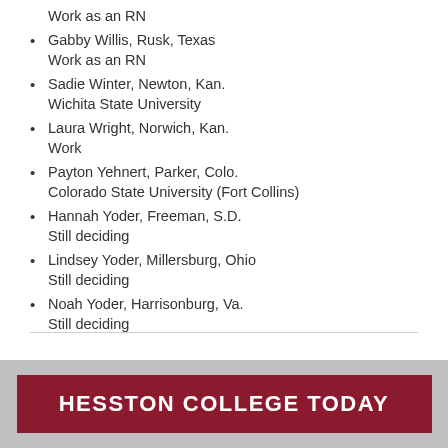Work as an RN
Gabby Willis, Rusk, Texas
Work as an RN
Sadie Winter, Newton, Kan.
Wichita State University
Laura Wright, Norwich, Kan.
Work
Payton Yehnert, Parker, Colo.
Colorado State University (Fort Collins)
Hannah Yoder, Freeman, S.D.
Still deciding
Lindsey Yoder, Millersburg, Ohio
Still deciding
Noah Yoder, Harrisonburg, Va.
Still deciding
HESSTON COLLEGE TODAY